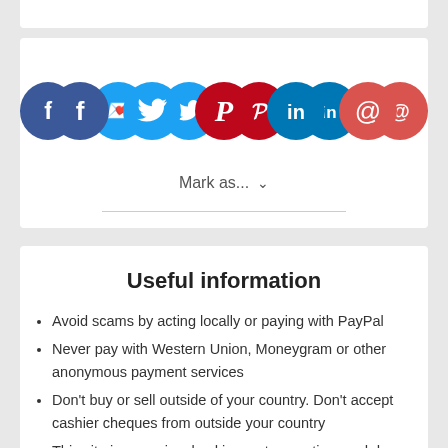[Figure (infographic): Row of 5 social media share/action icon buttons: Facebook (dark blue), Twitter (light blue), Pinterest (red), LinkedIn (teal blue), Email (orange-red)]
Mark as...  ˅
Useful information
Avoid scams by acting locally or paying with PayPal
Never pay with Western Union, Moneygram or other anonymous payment services
Don't buy or sell outside of your country. Don't accept cashier cheques from outside your country
This site is never involved in any transaction, and does not handle payments, shipping, guarantee transactions, provide escrow services, or offer "buyer protection" or